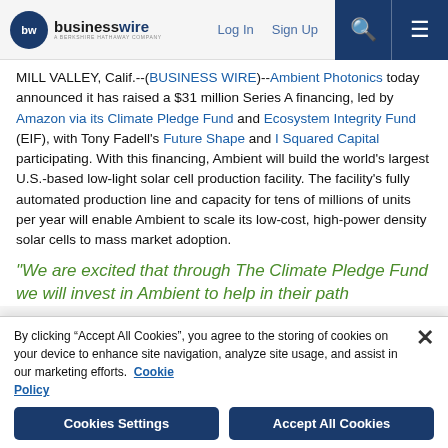businesswire — A Berkshire Hathaway Company | Log In | Sign Up
MILL VALLEY, Calif.--(BUSINESS WIRE)--Ambient Photonics today announced it has raised a $31 million Series A financing, led by Amazon via its Climate Pledge Fund and Ecosystem Integrity Fund (EIF), with Tony Fadell's Future Shape and I Squared Capital participating. With this financing, Ambient will build the world's largest U.S.-based low-light solar cell production facility. The facility's fully automated production line and capacity for tens of millions of units per year will enable Ambient to scale its low-cost, high-power density solar cells to mass market adoption.
“We are excited that through The Climate Pledge Fund we will invest in Ambient to help in their path
By clicking “Accept All Cookies”, you agree to the storing of cookies on your device to enhance site navigation, analyze site usage, and assist in our marketing efforts. Cookie Policy
Cookies Settings | Accept All Cookies